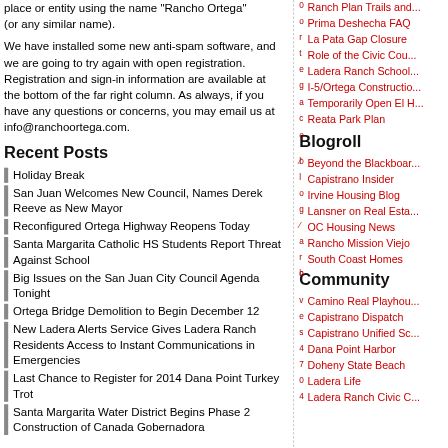place or entity using the name "Rancho Ortega" (or any similar name).
We have installed some new anti-spam software, and we are going to try again with open registration. Registration and sign-in information are available at the bottom of the far right column. As always, if you have any questions or concerns, you may email us at info@ranchoortega.com.
Recent Posts
Holiday Break
San Juan Welcomes New Council, Names Derek Reeve as New Mayor
Reconfigured Ortega Highway Reopens Today
Santa Margarita Catholic HS Students Report Threat Against School
Big Issues on the San Juan City Council Agenda Tonight
Ortega Bridge Demolition to Begin December 12
New Ladera Alerts Service Gives Ladera Ranch Residents Access to Instant Communications in Emergencies
Last Chance to Register for 2014 Dana Point Turkey Trot
Santa Margarita Water District Begins Phase 2 Construction of Canada Gobernadora
Ranch Plan Trails and...
Prima Deshecha FAQ
La Pata Gap Closure
Role of the Civic Cou...
Ladera Ranch School...
I-5/Ortega Constructio...
Temporarily Open El H...
Reata Park Plan
Blogroll
Beyond the Blackboar...
Capistrano Insider
Irvine Housing Blog
Lansner on Real Esta...
OC Housing News
Rancho Mission Viejo
South Coast Homes
Community
Camino Real Playhou...
Capistrano Dispatch
Capistrano Unified Sc...
Dana Point Harbor
Doheny State Beach
Ladera Life
Ladera Ranch Civic C...